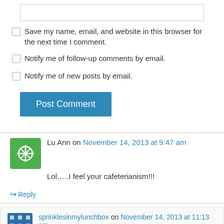[Figure (screenshot): Empty input text box at top of comment form]
Save my name, email, and website in this browser for the next time I comment.
Notify me of follow-up comments by email.
Notify me of new posts by email.
Post Comment
Lu Ann on November 14, 2013 at 9:47 am
Lol…..I feel your cafeterianism!!!
↪ Reply
sprinklesinmylunchbox on November 14, 2013 at 11:13 am
HAHAHAH!